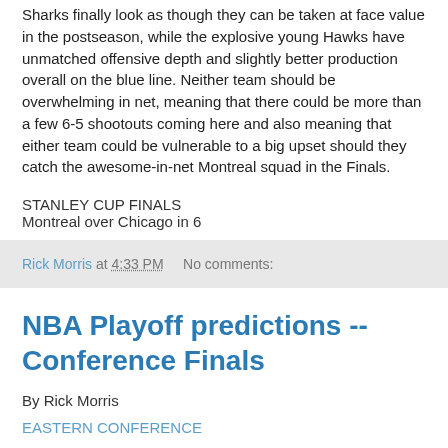Sharks finally look as though they can be taken at face value in the postseason, while the explosive young Hawks have unmatched offensive depth and slightly better production overall on the blue line. Neither team should be overwhelming in net, meaning that there could be more than a few 6-5 shootouts coming here and also meaning that either team could be vulnerable to a big upset should they catch the awesome-in-net Montreal squad in the Finals.
STANLEY CUP FINALS
Montreal over Chicago in 6
Rick Morris at 4:33 PM    No comments:
NBA Playoff predictions -- Conference Finals
By Rick Morris
EASTERN CONFERENCE